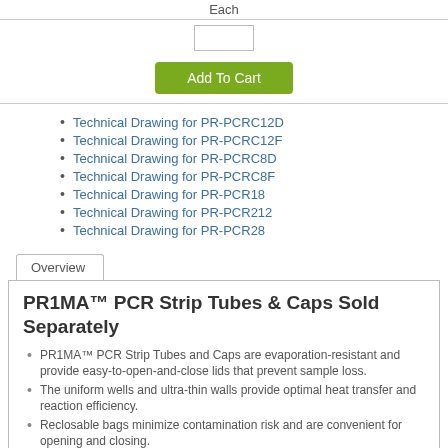Each
[quantity input field]
Add To Cart
Technical Drawing for PR-PCRC12D
Technical Drawing for PR-PCRC12F
Technical Drawing for PR-PCRC8D
Technical Drawing for PR-PCRC8F
Technical Drawing for PR-PCR18
Technical Drawing for PR-PCR212
Technical Drawing for PR-PCR28
Overview
PR1MA™ PCR Strip Tubes & Caps Sold Separately
PR1MA™ PCR Strip Tubes and Caps are evaporation-resistant and provide easy-to-open-and-close lids that prevent sample loss.
The uniform wells and ultra-thin walls provide optimal heat transfer and reaction efficiency.
Reclosable bags minimize contamination risk and are convenient for opening and closing.
For use in medical, pharmaceutical, food industry